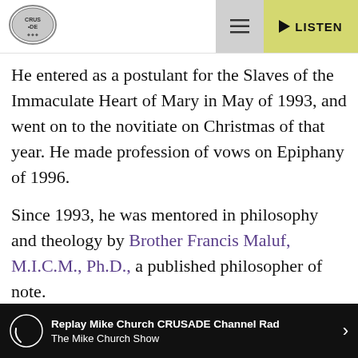[Figure (logo): CRUSADE circular logo/seal in gray]
He entered as a postulant for the Slaves of the Immaculate Heart of Mary in May of 1993, and went on to the novitiate on Christmas of that year. He made profession of vows on Epiphany of 1996.
Since 1993, he was mentored in philosophy and theology by Brother Francis Maluf, M.I.C.M., Ph.D., a published philosopher of note.
His apostolic work has included various facets of the publishing apostolate of the congregation. For ten years, he was also part of the community's small
Replay Mike Church CRUSADE Channel Rad The Mike Church Show